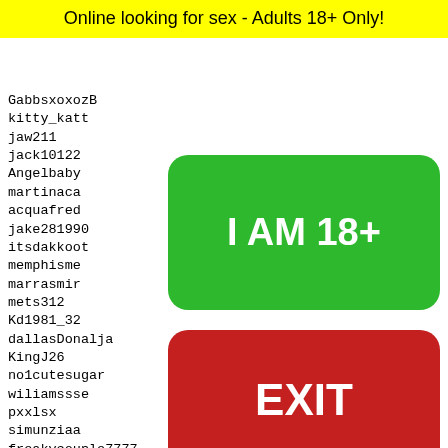Online looking for sex - Adults 18+ Only!
GabbsxoxozB
kitty_katt
jaw211
jack10122
Angelbaby
martinaca
acquafred
jake281990
itsdakkoot
memphisme
marrasmir
mets312
Kd1981_32
dallasDonalja
KingJ26
no1cutesugar
wiliamssse
pxxlsx
simunziaa
freakycouple7777
muram2
sirsmo
dingho
berkel
teengi
Cali3B
[Figure (illustration): Green button with text I AM 18+ and red button with text EXIT, age verification overlay]
29429 29430 29431 29432 29433
[Figure (photo): Snapchat ghost logo with yellow background and black dots, person visible at bottom]